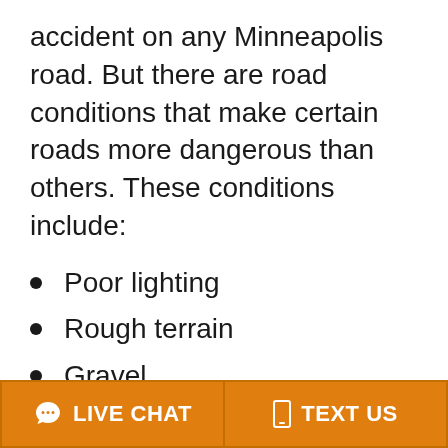accident on any Minneapolis road. But there are road conditions that make certain roads more dangerous than others. These conditions include:
Poor lighting
Rough terrain
Gravel
Slick surfaces
LIVE CHAT   TEXT US